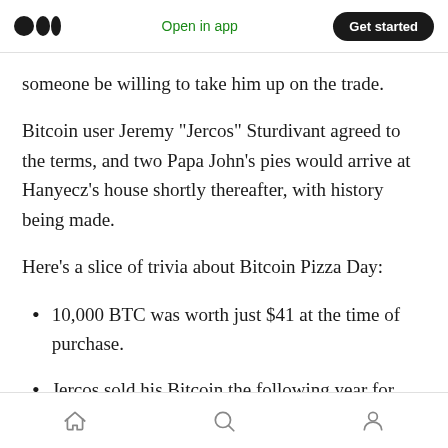Open in app | Get started
someone be willing to take him up on the trade.
Bitcoin user Jeremy “Jercos” Sturdivant agreed to the terms, and two Papa John’s pies would arrive at Hanyecz’s house shortly thereafter, with history being made.
Here’s a slice of trivia about Bitcoin Pizza Day:
10,000 BTC was worth just $41 at the time of purchase.
Jercos sold his Bitcoin the following year for
Home | Search | Profile